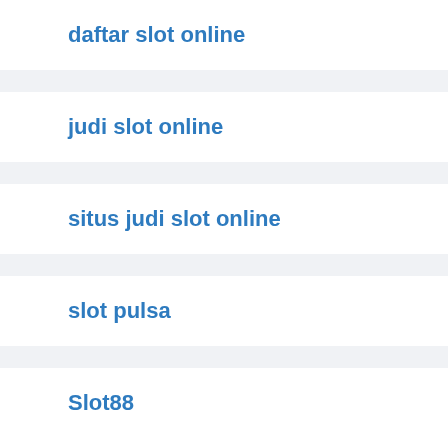daftar slot online
judi slot online
situs judi slot online
slot pulsa
Slot88